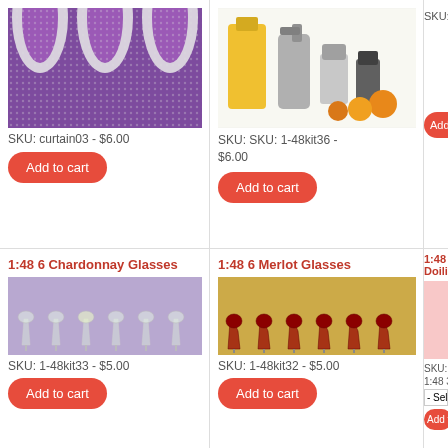[Figure (photo): Purple and white decorative curtain fabric, top-left product]
SKU: curtain03 - $6.00
Add to cart
[Figure (photo): Miniature bottles and orange spheres on white background, kitchen accessories kit]
SKU: SKU: 1-48kit36 - $6.00
Add to cart
SKU: 1-4
Add t
1:48 6 Chardonnay Glasses
[Figure (photo): Six miniature chardonnay wine glasses on purple background]
SKU: 1-48kit33 - $5.00
Add to cart
1:48 6 Merlot Glasses
[Figure (photo): Six miniature merlot wine glasses on yellow/golden background]
SKU: 1-48kit32 - $5.00
Add to cart
1:48 3D D Doilies
[Figure (photo): Pink miniature 3D doilies product]
SKU: 1-4
1:48 3D S
- Select
Add t